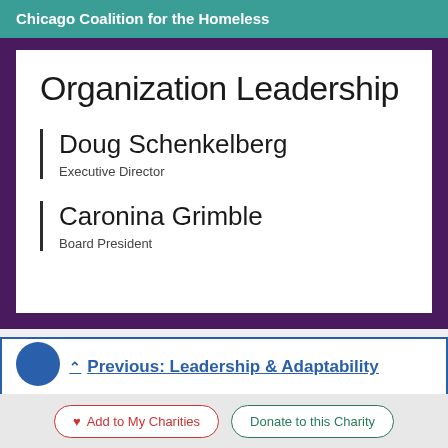Chicago Coalition for the Homeless
Organization Leadership
Doug Schenkelberg
Executive Director
Caronina Grimble
Board President
Previous: Leadership & Adaptability
Add to My Charities
Donate to this Charity